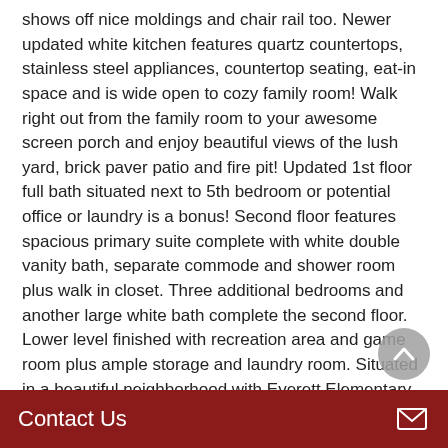shows off nice moldings and chair rail too. Newer updated white kitchen features quartz countertops, stainless steel appliances, countertop seating, eat-in space and is wide open to cozy family room! Walk right out from the family room to your awesome screen porch and enjoy beautiful views of the lush yard, brick paver patio and fire pit! Updated 1st floor full bath situated next to 5th bedroom or potential office or laundry is a bonus! Second floor features spacious primary suite complete with white double vanity bath, separate commode and shower room plus walk in closet. Three additional bedrooms and another large white bath complete the second floor. Lower level finished with recreation area and game room plus ample storage and laundry room. Situated in a beautiful neighborhood with Everett Elementary and Park plus convenience to amazing shops and
Contact Us